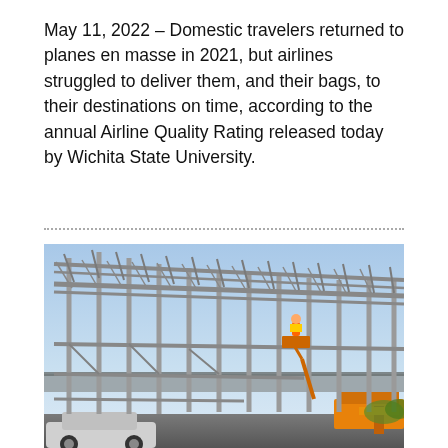May 11, 2022 – Domestic travelers returned to planes en masse in 2021, but airlines struggled to deliver them, and their bags, to their destinations on time, according to the annual Airline Quality Rating released today by Wichita State University.
[Figure (photo): Construction site showing a large steel framework structure being built. Metal columns and beams form the skeleton of a building under construction, with a worker on an orange aerial lift platform visible in the center-right. Blue sky in the background, a vehicle and orange equipment visible at the bottom.]